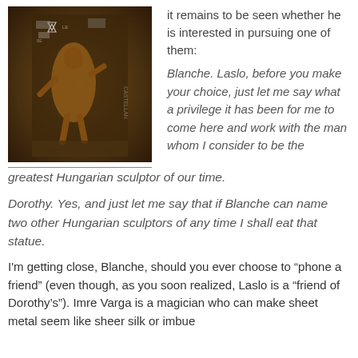[Figure (photo): A bronze statue figure in front of a dark wall covered with posters and a Star of David symbol, photographed in warm dark tones.]
it remains to be seen whether he is interested in pursuing one of them:
Blanche. Laslo, before you make your choice, just let me say what a privilege it has been for me to come here and work with the man whom I consider to be the greatest Hungarian sculptor of our time.
Dorothy. Yes, and just let me say that if Blanche can name two other Hungarian sculptors of any time I shall eat that statue.
I'm getting close, Blanche, should you ever choose to “phone a friend” (even though, as you soon realized, Laslo is a “friend of Dorothy’s”). Imre Varga is a magician who can make sheet metal seem like sheer silk or imbue